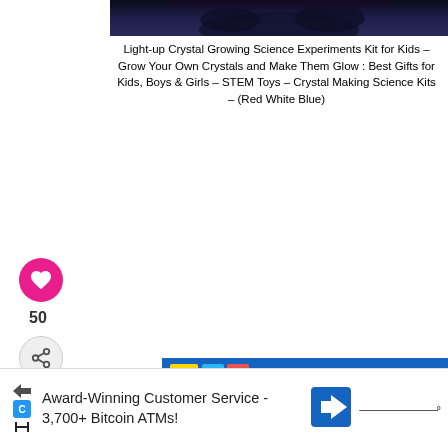[Figure (photo): Top portion of a crystal growing kit product image, showing dark colored crystals or product package against dark background]
Light-up Crystal Growing Science Experiments Kit for Kids – Grow Your Own Crystals and Make Them Glow : Best Gifts for Kids, Boys & Girls – STEM Toys – Crystal Making Science Kits – (Red White Blue)
[Figure (photo): Heart/like button icon (pink circle with white heart)]
50
[Figure (illustration): Share button icon (circle with share symbol)]
WHAT'S NEXT → Halloween STEM...
[Figure (photo): Circular thumbnail image of Halloween STEM product]
[Figure (photo): Thames & Kosmos Simple Machines STEM Experiment Kit box showing various mechanical models including crane, vehicles and machines. Ages 8+, 26 experiments, 32 parts.]
Award-Winning Customer Service - 3,700+ Bitcoin ATMs!